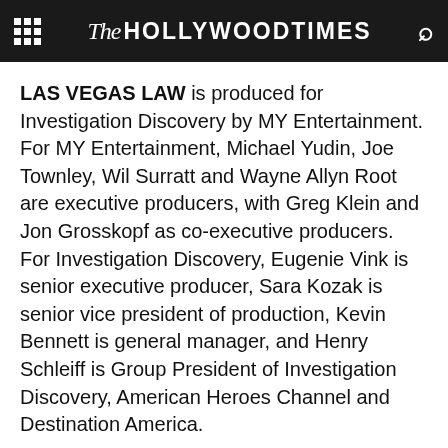The Hollywood Times
LAS VEGAS LAW is produced for Investigation Discovery by MY Entertainment. For MY Entertainment, Michael Yudin, Joe Townley, Wil Surratt and Wayne Allyn Root are executive producers, with Greg Klein and Jon Grosskopf as co-executive producers. For Investigation Discovery, Eugenie Vink is senior executive producer, Sara Kozak is senior vice president of production, Kevin Bennett is general manager, and Henry Schleiff is Group President of Investigation Discovery, American Heroes Channel and Destination America.
Advertisement